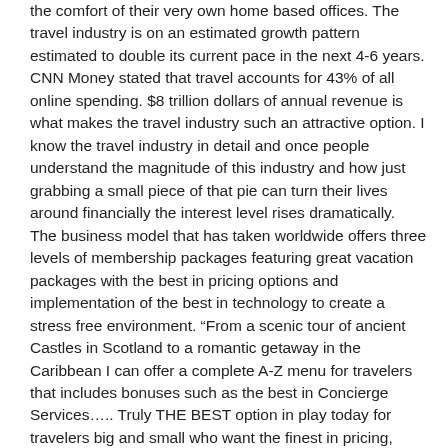the comfort of their very own home based offices. The travel industry is on an estimated growth pattern estimated to double its current pace in the next 4-6 years. CNN Money stated that travel accounts for 43% of all online spending. $8 trillion dollars of annual revenue is what makes the travel industry such an attractive option. I know the travel industry in detail and once people understand the magnitude of this industry and how just grabbing a small piece of that pie can turn their lives around financially the interest level rises dramatically. The business model that has taken worldwide offers three levels of membership packages featuring great vacation packages with the best in pricing options and implementation of the best in technology to create a stress free environment. “From a scenic tour of ancient Castles in Scotland to a romantic getaway in the Caribbean I can offer a complete A-Z menu for travelers that includes bonuses such as the best in Concierge Services….. Truly THE BEST option in play today for travelers big and small who want the finest in pricing, services and bonus features.”